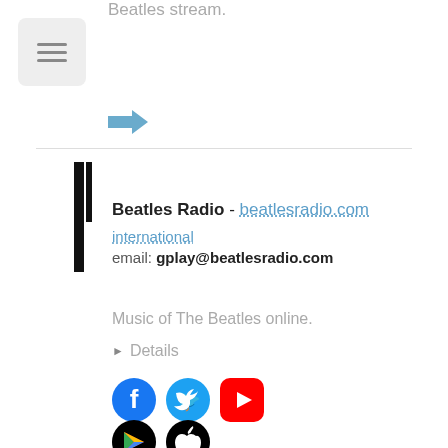Beatles stream.
[Figure (illustration): Hamburger menu button icon (three horizontal lines) in a light grey rounded rectangle]
[Figure (illustration): Blue right-pointing arrow icon]
Beatles Radio - beatlesradio.com
international
email: gplay@beatlesradio.com
Music of The Beatles online.
▶ Details
[Figure (illustration): Social media icons: Facebook (blue circle with f), Twitter (blue circle with bird), YouTube (red rounded square with play button)]
[Figure (illustration): App store icons: Google Play (black circle with colorful triangle), Apple App Store (black circle with apple logo)]